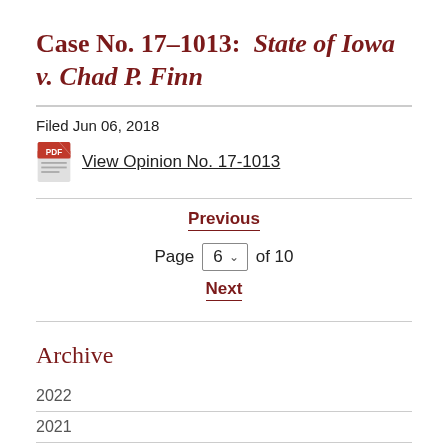Case No. 17–1013:  State of Iowa v. Chad P. Finn
Filed Jun 06, 2018
View Opinion No. 17-1013
Previous
Page 6 of 10
Next
Archive
2022
2021